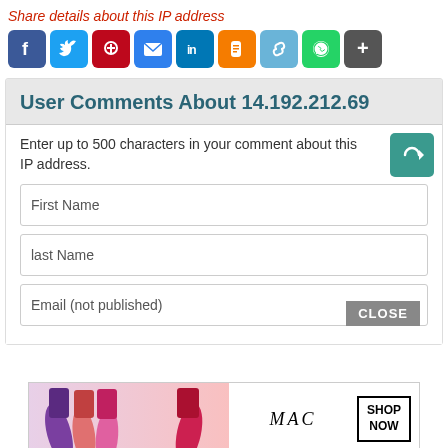Share details about this IP address
[Figure (other): Row of social sharing icon buttons: Facebook, Twitter, Pinterest, Email, LinkedIn, Blogger, Link, WhatsApp, Plus]
User Comments About 14.192.212.69
Enter up to 500 characters in your comment about this IP address.
First Name
last Name
Email (not published)
[Figure (photo): MAC cosmetics advertisement banner with lipsticks and SHOP NOW button]